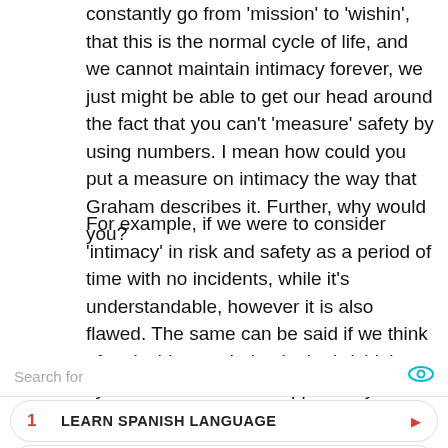constantly go from 'mission' to 'wishin', that this is the normal cycle of life, and we cannot maintain intimacy forever, we just might be able to get our head around the fact that you can't 'measure' safety by using numbers. I mean how could you put a measure on intimacy the way that Graham describes it. Further, why would you?
For example, if we were to consider 'intimacy' in risk and safety as a period of time with no incidents, while it's understandable, however it is also flawed. The same can be said if we think of an incident as being in the 'wishin' cycle. Incidents are an opportunity to learn and can teach us so much about
Search for
1  LEARN SPANISH LANGUAGE
2  ENGLISH SPEAKING LESSONS